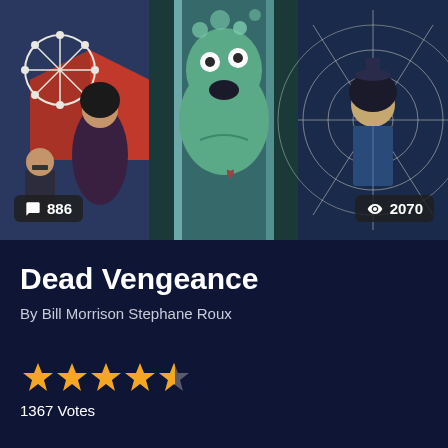[Figure (illustration): Comic book cover art collage showing three panels side by side: left panel features a carnival/fair scene with a ferris wheel, red tent, and a dark-haired woman in a strapless outfit with a man in glasses; center panel shows a grotesque green zombie-like creature submerged in liquid in a cylindrical container; right panel shows an Asian woman figure with a spiderweb background. Overlaid badges show comment count 886 on lower left and view count 2070 on lower right.]
Dead Vengeance
By Bill Morrison Stephane Roux
[Figure (infographic): Star rating display showing 4 full gold stars and 1 half gold star out of 5]
1367 Votes